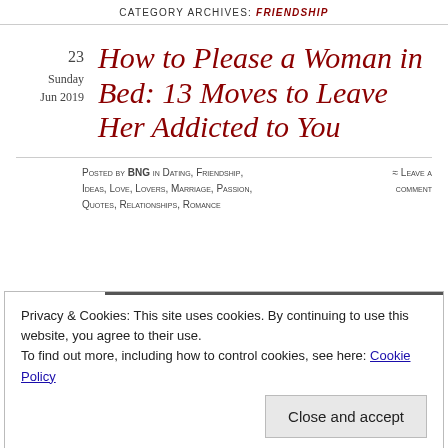CATEGORY ARCHIVES: FRIENDSHIP
23
Sunday
Jun 2019
How to Please a Woman in Bed: 13 Moves to Leave Her Addicted to You
Posted by BNG in Dating, Friendship, Ideas, Love, Lovers, Marriage, Passion, Quotes, Relationships, Romance
≈ Leave a comment
Privacy & Cookies: This site uses cookies. By continuing to use this website, you agree to their use.
To find out more, including how to control cookies, see here: Cookie Policy
Close and accept